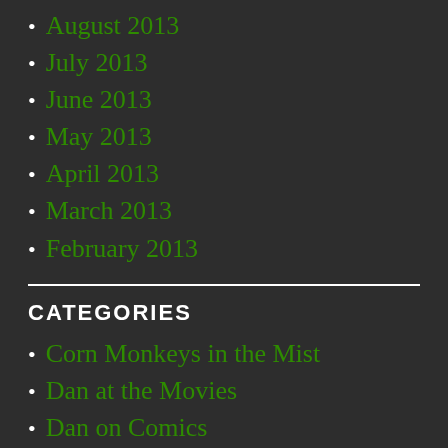August 2013
July 2013
June 2013
May 2013
April 2013
March 2013
February 2013
CATEGORIES
Corn Monkeys in the Mist
Dan at the Movies
Dan on Comics
Dan on TV